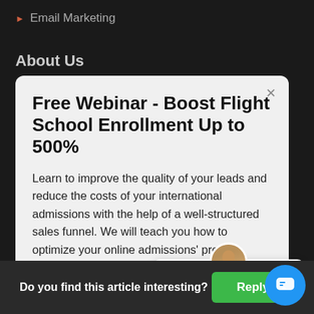Email Marketing
About Us
Free Webinar - Boost Flight School Enrollment Up to 500%
Learn to improve the quality of your leads and reduce the costs of your international admissions with the help of a well-structured sales funnel. We will teach you how to optimize your online admissions' process.
Re
Got any questions? I'm happy to help.
Resou
Mark
Do you find this article interesting?
Reply